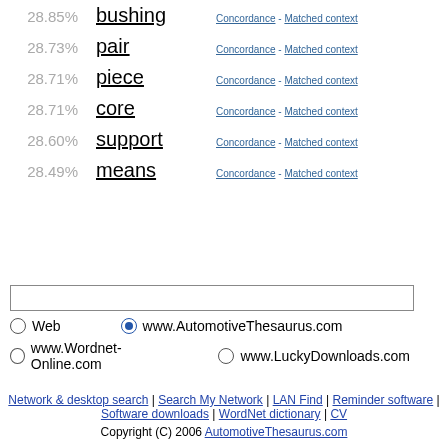28.85% bushing Concordance - Matched context
28.73% pair Concordance - Matched context
28.71% piece Concordance - Matched context
28.71% core Concordance - Matched context
28.60% support Concordance - Matched context
28.49% means Concordance - Matched context
Web  www.AutomotiveThesaurus.com  www.Wordnet-Online.com  www.LuckyDownloads.com
Network & desktop search | Search My Network | LAN Find | Reminder software | Software downloads | WordNet dictionary | CV  Copyright (C) 2006 AutomotiveThesaurus.com